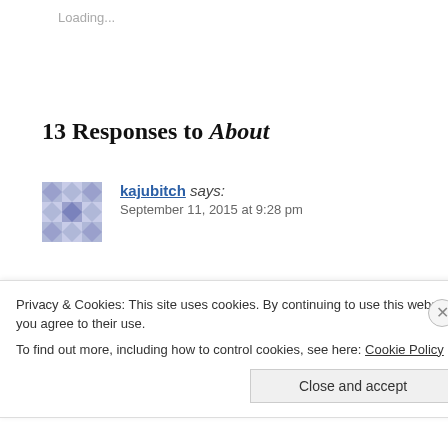Loading...
13 Responses to About
kajubitch says: September 11, 2015 at 9:28 pm
Hmm, seems I have just been suspended on Twitter.Gu threatening me two days ago, and has called my busine didn’t care for me posting links from Random Topics. S
Privacy & Cookies: This site uses cookies. By continuing to use this website, you agree to their use.
To find out more, including how to control cookies, see here: Cookie Policy
Close and accept